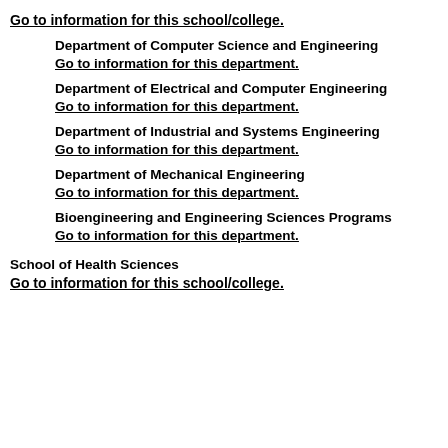Go to information for this school/college.
Department of Computer Science and Engineering
Go to information for this department.
Department of Electrical and Computer Engineering
Go to information for this department.
Department of Industrial and Systems Engineering
Go to information for this department.
Department of Mechanical Engineering
Go to information for this department.
Bioengineering and Engineering Sciences Programs
Go to information for this department.
School of Health Sciences
Go to information for this school/college.